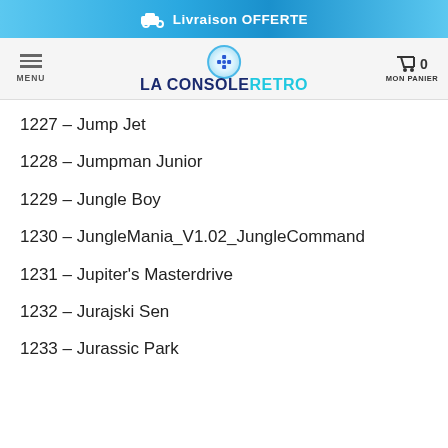Livraison OFFERTE
[Figure (logo): La Console Retro website logo with navigation bar showing menu button and cart icon]
1227 – Jump Jet
1228 – Jumpman Junior
1229 – Jungle Boy
1230 – JungleMania_V1.02_JungleCommand
1231 – Jupiter's Masterdrive
1232 – Jurajski Sen
1233 – Jurassic Park